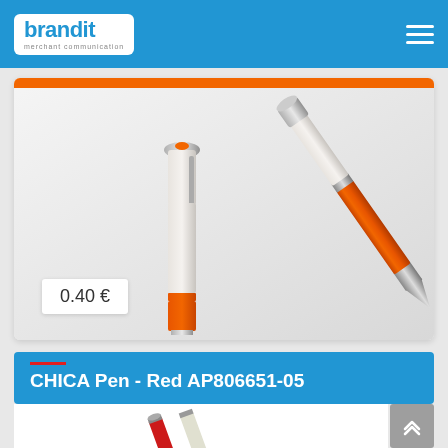brandit — merchant communication
[Figure (photo): Product photo showing two orange and silver CHICA pens on a light grey background. One pen shown upright (cap end up), another shown at an angle pointing down-right. Price tag showing 0.40 € in the lower left of the image.]
0.40 €
CHICA Pen - Red AP806651-05
[Figure (photo): Partial product image of a red and silver CHICA pen at the bottom of the page.]